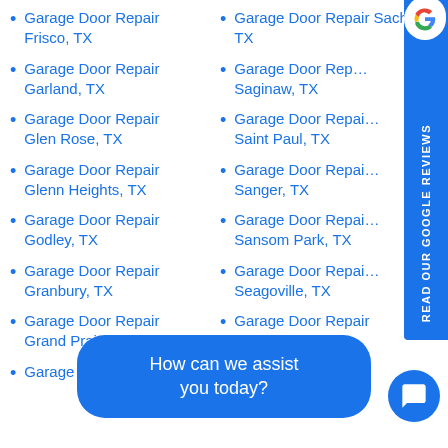Garage Door Repair Frisco, TX
Garage Door Repair Garland, TX
Garage Door Repair Glen Rose, TX
Garage Door Repair Glenn Heights, TX
Garage Door Repair Godley, TX
Garage Door Repair Granbury, TX
Garage Door Repair Grand Prairie
Garage Door
Garage Door Repair Sachse, TX
Garage Door Repair Saginaw, TX
Garage Door Repair Saint Paul, TX
Garage Door Repair Sanger, TX
Garage Door Repair Sansom Park, TX
Garage Door Repair Seagoville, TX
Garage Door Repair Southlake, TX
How can we assist you today?